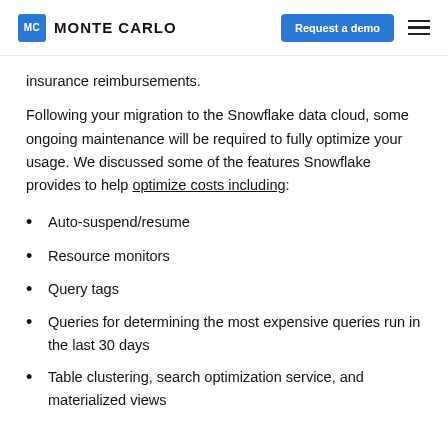MC MONTE CARLO | Request a demo
insurance reimbursements.
Following your migration to the Snowflake data cloud, some ongoing maintenance will be required to fully optimize your usage. We discussed some of the features Snowflake provides to help optimize costs including:
Auto-suspend/resume
Resource monitors
Query tags
Queries for determining the most expensive queries run in the last 30 days
Table clustering, search optimization service, and materialized views